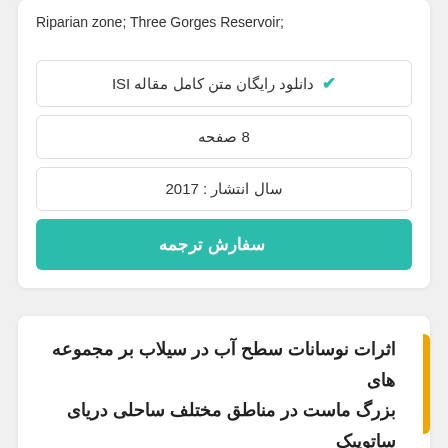Riparian zone; Three Gorges Reservoir;
✔ دانلود رایگان متن کامل مقاله ISI
8 صفحه
سال انتشار : 2017
✔ سفارش ترجمه
اثرات نوسانات سطح آب در سیلاب بر مجموعه های بزرگ ماست در مناطق مختلف ساحلی دریای ساتوپیک